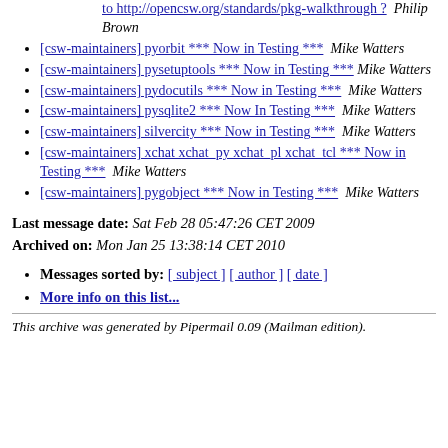[link to http://opencsw.org/standards/pkg-walkthrough ?]  Philip Brown
[csw-maintainers] pyorbit *** Now in Testing ***  Mike Watters
[csw-maintainers] pysetuptools *** Now in Testing ***  Mike Watters
[csw-maintainers] pydocutils *** Now in Testing ***  Mike Watters
[csw-maintainers] pysqlite2 *** Now In Testing ***  Mike Watters
[csw-maintainers] silvercity *** Now in Testing ***  Mike Watters
[csw-maintainers] xchat xchat_py xchat_pl xchat_tcl *** Now in Testing ***  Mike Watters
[csw-maintainers] pygobject *** Now in Testing ***  Mike Watters
Last message date: Sat Feb 28 05:47:26 CET 2009
Archived on: Mon Jan 25 13:38:14 CET 2010
Messages sorted by: [ subject ] [ author ] [ date ]
More info on this list...
This archive was generated by Pipermail 0.09 (Mailman edition).